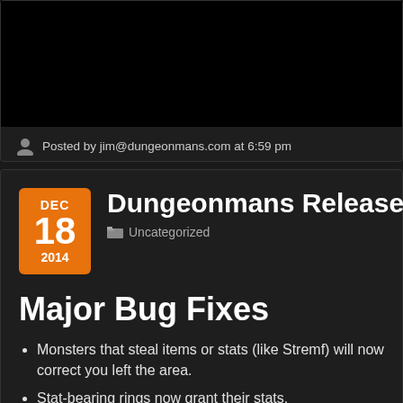Posted by jim@dungeonmans.com at 6:59 pm
Dungeonmans Release 1.01 Patch
Uncategorized
Major Bug Fixes
Monsters that steal items or stats (like Stremf) will now correct you left the area.
Stat-bearing rings now grant their stats.
Fixed certain Bleed, Melee and Ranged damage resistances n
Players should no longer get stuck in Wooden Barricades.
Items festooned in enchantments by greedy Dungeonmens wi
Monsters with missing Monster Knowledge values have been